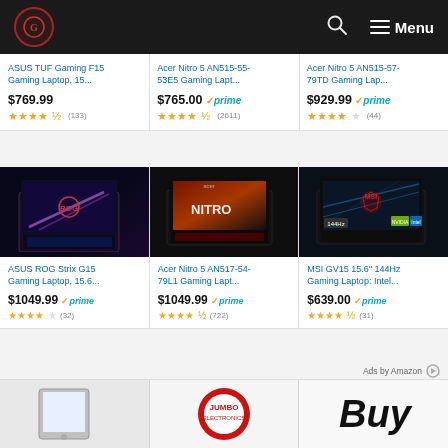Navigation bar with logo, search icon, and Menu
ASUS TUF Gaming F15 Gaming Laptop, 15... $769.99 ★★★★½ (133)
Acer Nitro 5 AN515-55-53E5 Gaming Lapt... $765.00 ✓prime ★★★★½ (2611)
Acer Nitro 5 AN515-57-79TD Gaming Lap... $929.99 ✓prime ★★★★½ (44)
[Figure (photo): ASUS ROG Strix G15 gaming laptop with RGB purple/blue lid]
ASUS ROG Strix G15 Gaming Laptop, 15.6... $1049.99 ✓prime ★★★★☆ (32)
[Figure (photo): Acer Nitro 5 AN517-54-79L1 gaming laptop with red backlit keyboard]
Acer Nitro 5 AN517-54-79L1 Gaming Lapt... $1049.99 ✓prime ★★★★½ (722)
[Figure (photo): MSI GV15 gaming laptop with blue abstract screen design]
MSI GV15 15.6" 144Hz Gaming Laptop: Intel... $639.00 ✓prime ★★★★½ (31)
Ads by Amazon
[Figure (other): Three bottom thumbnail images of products/brands]